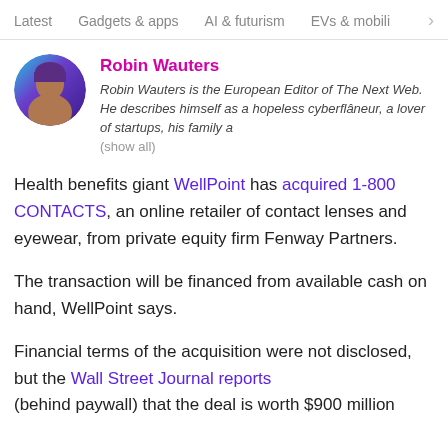Latest   Gadgets & apps   AI & futurism   EVs & mobili  >
[Figure (photo): Circular avatar of Robin Wauters with purple/teal gradient background]
Robin Wauters
Robin Wauters is the European Editor of The Next Web. He describes himself as a hopeless cyberflâneur, a lover of startups, his family a
(show all)
Health benefits giant WellPoint has acquired 1-800 CONTACTS, an online retailer of contact lenses and eyewear, from private equity firm Fenway Partners.
The transaction will be financed from available cash on hand, WellPoint says.
Financial terms of the acquisition were not disclosed, but the Wall Street Journal reports (behind paywall) that the deal is worth $900 million